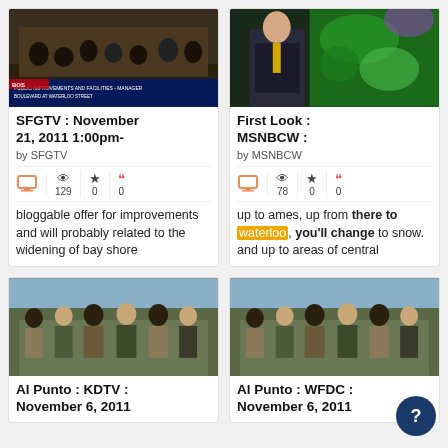[Figure (screenshot): TV screenshot from SFGTV showing a city council chamber]
SFGTV : November 21, 2011 1:00pm-
by SFGTV
129 views, 0 favorites, 0 quotes
bloggable offer for improvements and will probably related to the widening of bay shore
[Figure (screenshot): TV screenshot from MSNBCW showing a weather presenter]
First Look : MSNBCW :
by MSNBCW
78 views, 0 favorites, 0 quotes
up to ames, up from there to waterloo, you'll change to snow. and up to areas of central
[Figure (screenshot): TV screenshot from KDTV showing group of men seated outdoors]
Al Punto : KDTV : November 6, 2011
[Figure (screenshot): TV screenshot from WFDC showing group of men seated outdoors]
Al Punto : WFDC : November 6, 2011